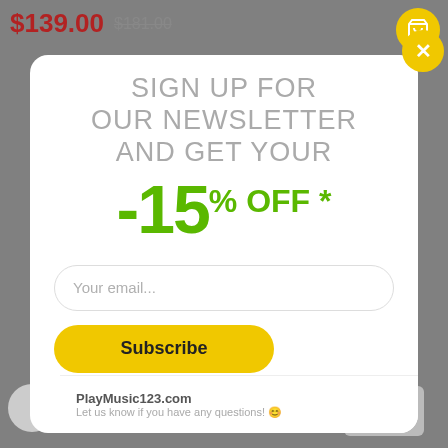$139.00 $181.00
[Figure (screenshot): Newsletter signup modal popup with yellow close button, headline 'SIGN UP FOR OUR NEWSLETTER AND GET YOUR', green discount text '-15% OFF *', email input field, yellow Subscribe button, and chat bar at bottom showing 'PlayMusic123.com' and 'Let us know if you have any questions!']
SIGN UP FOR OUR NEWSLETTER AND GET YOUR
-15% OFF *
Your email...
Subscribe
PlayMusic123.com
Let us know if you have any questions! 😊